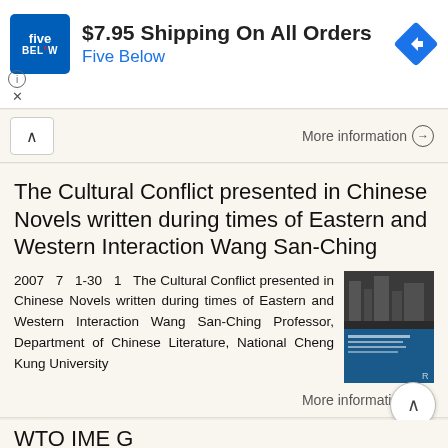[Figure (screenshot): Five Below advertisement banner: blue Five Below logo, '$7.95 Shipping On All Orders' headline, 'Five Below' blue subtitle, blue diamond navigation arrow icon on right, info (i) and X icons on lower left]
More information →
The Cultural Conflict presented in Chinese Novels written during times of Eastern and Western Interaction Wang San-Ching
2007 7 1-30 1 The Cultural Conflict presented in Chinese Novels written during times of Eastern and Western Interaction Wang San-Ching Professor, Department of Chinese Literature, National Cheng Kung University
[Figure (photo): Book cover thumbnail with dark upper half showing industrial/urban scene and blue lower portion with white text]
More information →
WTO IME G